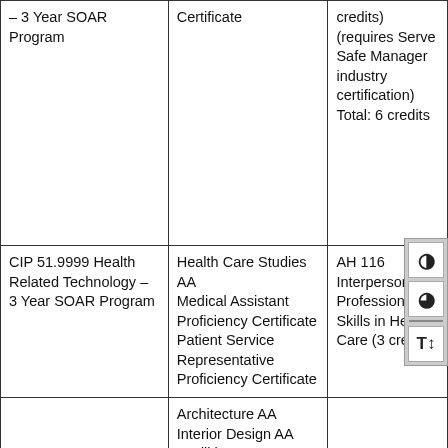| Program | Degree/Certificate | Course |
| --- | --- | --- |
| – 3 Year SOAR Program | Certificate | credits)
(requires ServesSafe Manager industry certification)
Total: 6 credits |
| CIP 51.9999 Health Related Technology – 3 Year SOAR Program | Health Care Studies AA
Medical Assistant Proficiency Certificate
Patient Service Representative Proficiency Certificate | AH 116 Interpersonal and Professional Skills in Health Care (3 cre... |
|  | Architecture AA
Interior Design AA
Facilities Management |  |